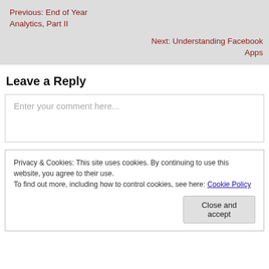Previous: End of Year Analytics, Part II
Next: Understanding Facebook Apps
Leave a Reply
Enter your comment here...
Privacy & Cookies: This site uses cookies. By continuing to use this website, you agree to their use.
To find out more, including how to control cookies, see here: Cookie Policy
Close and accept